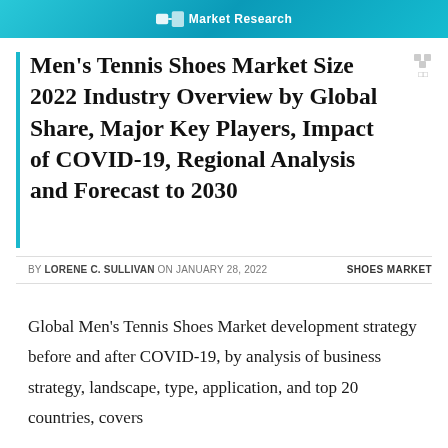Men's Tennis Shoes Market Size 2022 Industry Overview by Global Share, Major Key Players, Impact of COVID-19, Regional Analysis and Forecast to 2030
BY LORENE C. SULLIVAN ON JANUARY 28, 2022    SHOES MARKET
Global Men's Tennis Shoes Market development strategy before and after COVID-19, by analysis of business strategy, landscape, type, application, and top 20 countries, covers